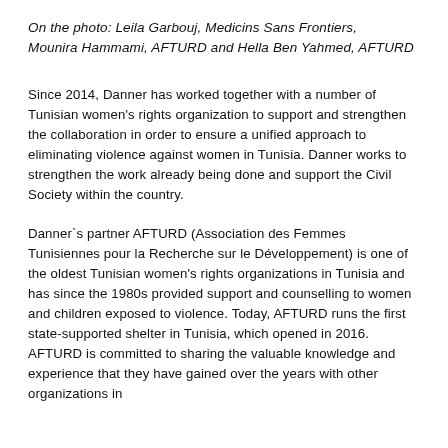On the photo: Leila Garbouj, Medicins Sans Frontiers, Mounira Hammami, AFTURD and Hella Ben Yahmed, AFTURD
Since 2014, Danner has worked together with a number of Tunisian women's rights organization to support and strengthen the collaboration in order to ensure a unified approach to eliminating violence against women in Tunisia. Danner works to strengthen the work already being done and support the Civil Society within the country.
Danner`s partner AFTURD (Association des Femmes Tunisiennes pour la Recherche sur le Développement) is one of the oldest Tunisian women's rights organizations in Tunisia and has since the 1980s provided support and counselling to women and children exposed to violence. Today, AFTURD runs the first state-supported shelter in Tunisia, which opened in 2016. AFTURD is committed to sharing the valuable knowledge and experience that they have gained over the years with other organizations in